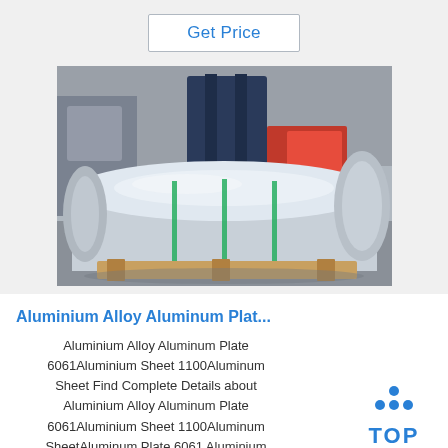Get Price
[Figure (photo): Large aluminum coil rolls on wooden pallets in an industrial warehouse, with a forklift in the background.]
Aluminium Alloy Aluminum Plat...
Aluminium Alloy Aluminum Plate 6061Aluminium Sheet 1100Aluminum Sheet Find Complete Details about Aluminium Alloy Aluminum Plate 6061Aluminium Sheet 1100Aluminum SheetAluminum Plate 6061 Aluminium
[Figure (logo): TOP logo with blue dots arranged in a triangle above the word TOP in bold blue letters.]